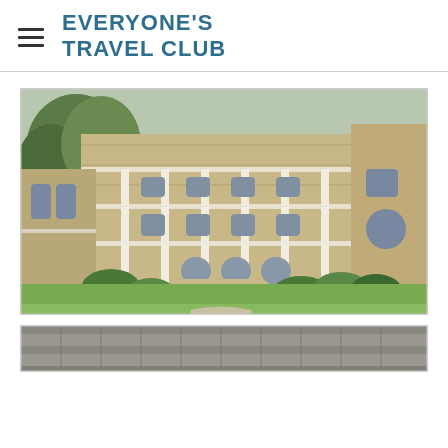EVERYONE'S TRAVEL CLUB
[Figure (photo): Exterior photo of a historic multi-story stone building with white columns and wrap-around balconies on multiple floors, surrounded by green lawn and landscaping]
[Figure (photo): Partial view of another building or structure, cropped at bottom of page]